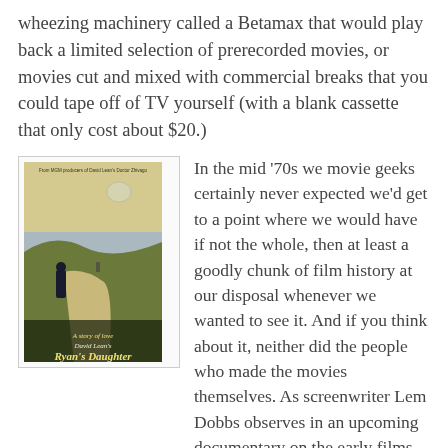wheezing machinery called a Betamax that would play back a limited selection of prerecorded movies, or movies cut and mixed with commercial breaks that you could tape off of TV yourself (with a blank cassette that only cost about $20.)
[Figure (photo): Movie poster for Ryan's Daughter, showing a woman in dark clothing on a coastal hillside with text 'From MGM producers of David Lean's Doctor Zhivago' at top and 'Ryan's Daughter' in stylized font at bottom.]
In the mid ‘70s we movie geeks certainly never expected we’d get to a point where we would have if not the whole, then at least a goodly chunk of film history at our disposal whenever we wanted to see it. And if you think about it, neither did the people who made the movies themselves. As screenwriter Lem Dobbs observes in an upcoming documentary on the early films of John Ford, none of these filmmakers ever imagined a life for their work beyond the initial theatrical run, which makes the lasting poetics of someone like Ford, or the diamond-sharp wit of a Hawks or a Wilder, or the roguish splendor of a Walsh even more notable in how it stood out from the chaff of the day. Sure,